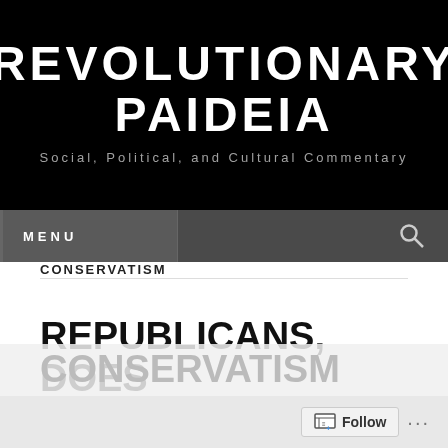REVOLUTIONARY PAIDEIA
Social, Political, and Cultural Commentary
MENU
CONSERVATISM
REPUBLICANS, DOES